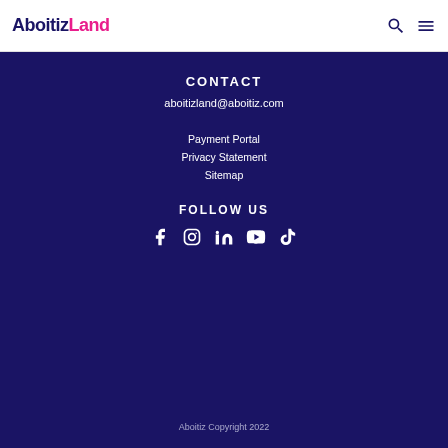AboitizLand
CONTACT
aboitizland@aboitiz.com
Payment Portal
Privacy Statement
Sitemap
FOLLOW US
[Figure (other): Social media icons: Facebook, Instagram, LinkedIn, YouTube, TikTok]
Aboitiz Copyright 2022